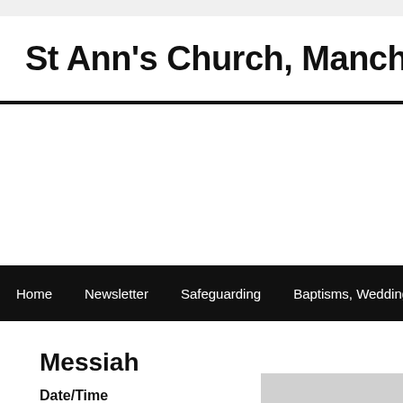St Ann's Church, Manchester
Home   Newsletter   Safeguarding   Baptisms, Weddings and Fune...
Messiah
Date/Time